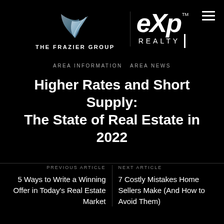[Figure (logo): The Frazier Group and eXp Realty logos on black background. Left side shows a stylized wing/feather logo above text THE FRAZIER GROUP. Right side shows eXp Realty logo with TM mark and vertical bar, plus hamburger menu icon.]
AREA INFORMATION  AREA NEWS
Higher Rates and Short Supply: The State of Real Estate in 2022
PREVIOUS ARTICLE
5 Ways to Write a Winning Offer in Today's Real Estate Market
NEXT ARTICLE
7 Costly Mistakes Home Sellers Make (And How to Avoid Them)